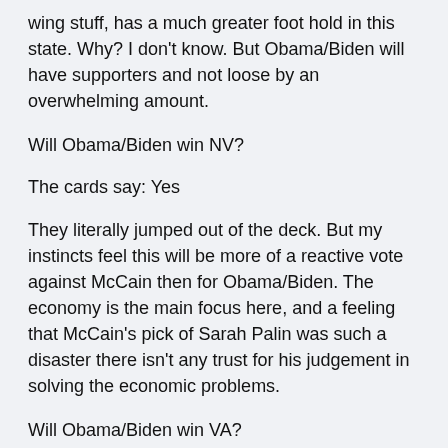wing stuff, has a much greater foot hold in this state. Why? I don't know. But Obama/Biden will have supporters and not loose by an overwhelming amount.
Will Obama/Biden win NV?
The cards say: Yes
They literally jumped out of the deck. But my instincts feel this will be more of a reactive vote against McCain then for Obama/Biden. The economy is the main focus here, and a feeling that McCain's pick of Sarah Palin was such a disaster there isn't any trust for his judgement in solving the economic problems.
Will Obama/Biden win VA?
I got a very odd answer. The tower came up, just as it did for Florida. Again election tampering (fraud, suppression) but in this case it looks like it won't be clear who won the state for a little while. It looks like a court case may come out of this. And ultimately Obama/Biden will win. But chances are it will